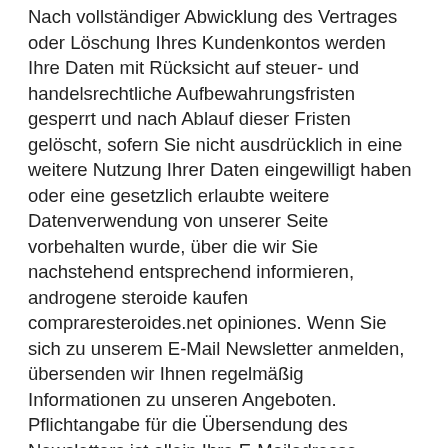Nach vollständiger Abwicklung des Vertrages oder Löschung Ihres Kundenkontos werden Ihre Daten mit Rücksicht auf steuer- und handelsrechtliche Aufbewahrungsfristen gesperrt und nach Ablauf dieser Fristen gelöscht, sofern Sie nicht ausdrücklich in eine weitere Nutzung Ihrer Daten eingewilligt haben oder eine gesetzlich erlaubte weitere Datenverwendung von unserer Seite vorbehalten wurde, über die wir Sie nachstehend entsprechend informieren, androgene steroide kaufen compraresteroides.net opiniones. Wenn Sie sich zu unserem E-Mail Newsletter anmelden, übersenden wir Ihnen regelmäßig Informationen zu unseren Angeboten. Pflichtangabe für die Übersendung des Newsletters ist allein Ihre E-Mailadresse. Femara is the brand name of Novartis Pharmaceuticals of letrozole, a compound classified as a non-steroidal selective third generation aromatase inhibitor, androgene